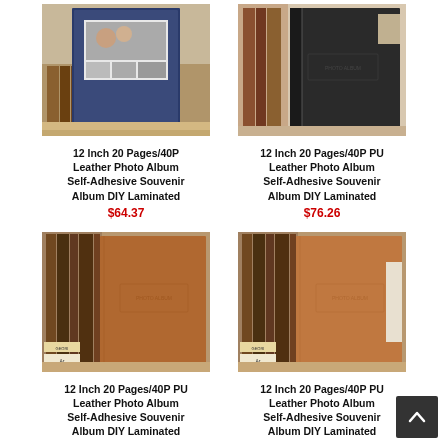[Figure (photo): Navy blue 12-inch self-adhesive photo album with photo collage cover]
12 Inch 20 Pages/40P Leather Photo Album Self-Adhesive Souvenir Album DIY Laminated
$64.37
[Figure (photo): Dark navy/black PU leather 12-inch self-adhesive photo album]
12 Inch 20 Pages/40P PU Leather Photo Album Self-Adhesive Souvenir Album DIY Laminated
$76.26
[Figure (photo): Brown PU leather 12-inch self-adhesive photo album on bookshelf]
12 Inch 20 Pages/40P PU Leather Photo Album Self-Adhesive Souvenir Album DIY Laminated
[Figure (photo): Brown PU leather 12-inch self-adhesive photo album on bookshelf (second color variant)]
12 Inch 20 Pages/40P PU Leather Photo Album Self-Adhesive Souvenir Album DIY Laminated